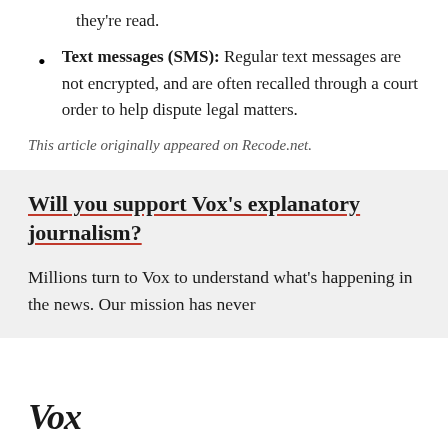they're read.
Text messages (SMS): Regular text messages are not encrypted, and are often recalled through a court order to help dispute legal matters.
This article originally appeared on Recode.net.
Will you support Vox's explanatory journalism?
Millions turn to Vox to understand what's happening in the news. Our mission has never
Vox